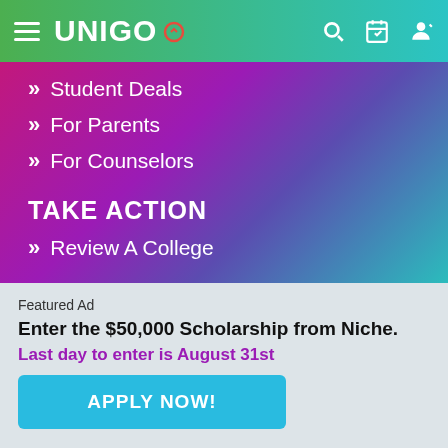UNIGO
Student Deals
For Parents
For Counselors
TAKE ACTION
Review A College
College Match
Scholarship Match
a Loan
Featured Ad
Enter the $50,000 Scholarship from Niche.
Last day to enter is August 31st
APPLY NOW!